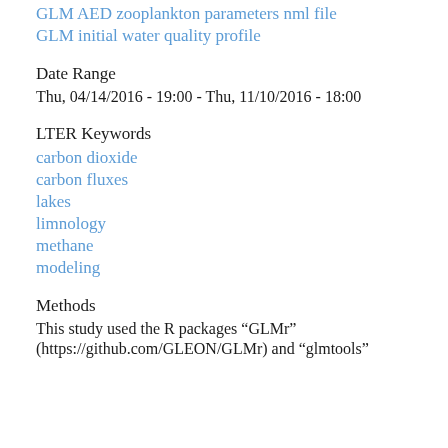GLM AED zooplankton parameters nml file
GLM initial water quality profile
Date Range
Thu, 04/14/2016 - 19:00 - Thu, 11/10/2016 - 18:00
LTER Keywords
carbon dioxide
carbon fluxes
lakes
limnology
methane
modeling
Methods
This study used the R packages “GLMr” (https://github.com/GLEON/GLMr) and “glmtools”